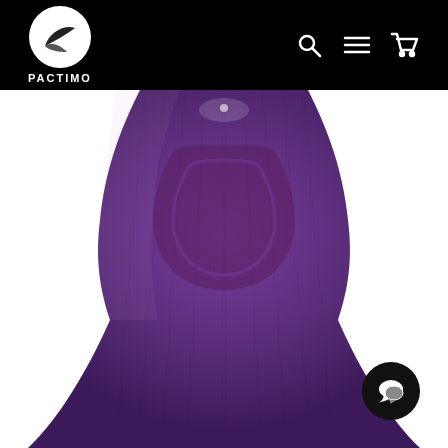PACTIMO
[Figure (photo): Close-up product photo of a purple cycling bib shorts/chamois pad area, showing the padded insert with ribbed purple fabric, on a white background. The garment narrows at the waist and flares at the bottom.]